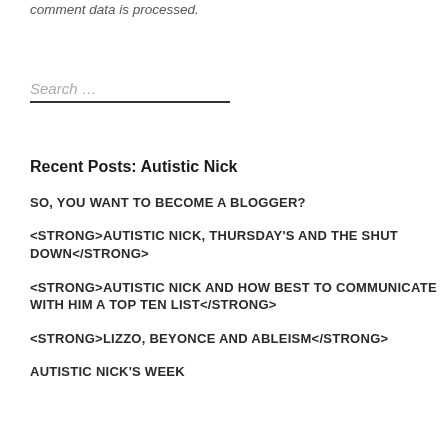comment data is processed.
Search ...
Recent Posts: Autistic Nick
SO, YOU WANT TO BECOME A BLOGGER?
<strong>AUTISTIC NICK, THURSDAY'S AND THE SHUT DOWN</strong>
<strong>AUTISTIC NICK AND HOW BEST TO COMMUNICATE WITH HIM A TOP TEN LIST</strong>
<strong>LIZZO, BEYONCE AND ABLEISM</strong>
AUTISTIC NICK'S WEEK